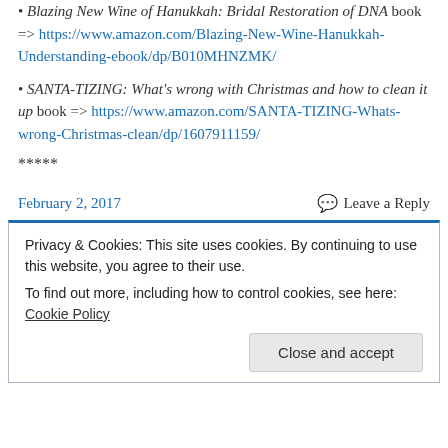• Blazing New Wine of Hanukkah: Bridal Restoration of DNA book => https://www.amazon.com/Blazing-New-Wine-Hanukkah-Understanding-ebook/dp/B010MHNZMK/
• SANTA-TIZING: What's wrong with Christmas and how to clean it up book => https://www.amazon.com/SANTA-TIZING-Whats-wrong-Christmas-clean/dp/1607911159/
*****
February 2, 2017   Leave a Reply
Privacy & Cookies: This site uses cookies. By continuing to use this website, you agree to their use. To find out more, including how to control cookies, see here: Cookie Policy